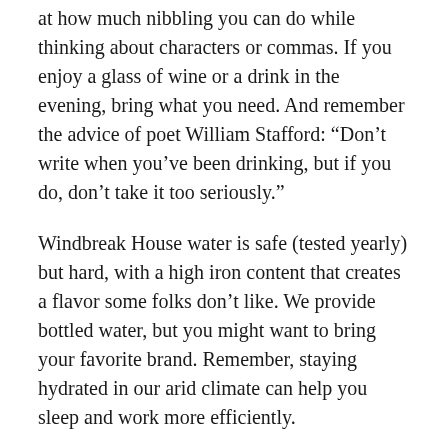at how much nibbling you can do while thinking about characters or commas. If you enjoy a glass of wine or a drink in the evening, bring what you need. And remember the advice of poet William Stafford: “Don’t write when you’ve been drinking, but if you do, don’t take it too seriously.”
Windbreak House water is safe (tested yearly) but hard, with a high iron content that creates a flavor some folks don’t like. We provide bottled water, but you might want to bring your favorite brand. Remember, staying hydrated in our arid climate can help you sleep and work more efficiently.
Four: What You Leave Behind